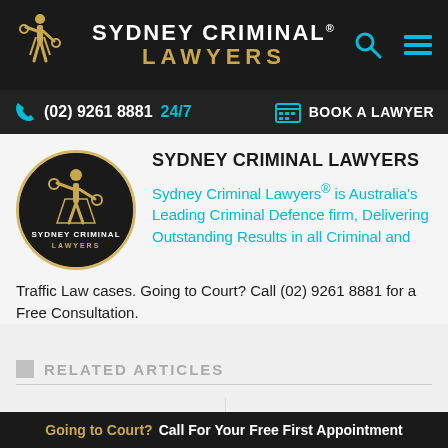SYDNEY CRIMINAL® LAWYERS
(02) 9261 8881  24/7    BOOK A LAWYER
SYDNEY CRIMINAL LAWYERS
Sydney Criminal Lawyers® is Australia's Leading Criminal Defence firm, Delivering Outstanding Results in all Criminal and Traffic Law cases. Going to Court? Call (02) 9261 8881 for a Free Consultation.
RELATED ARTICLES
What to do if you suspect a police
Desperate Detainees Riot on
Going to Court? Call For Your Free First Appointment